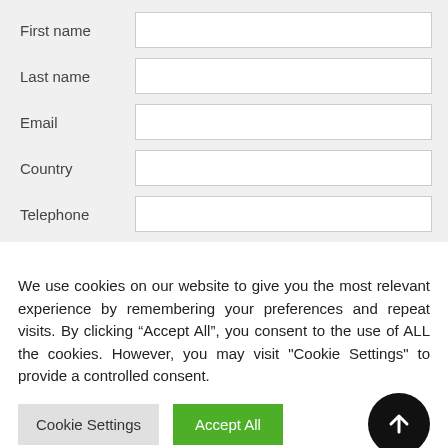First name
Last name
Email
Country
Telephone
We use cookies on our website to give you the most relevant experience by remembering your preferences and repeat visits. By clicking “Accept All”, you consent to the use of ALL the cookies. However, you may visit "Cookie Settings" to provide a controlled consent.
Cookie Settings
Accept All